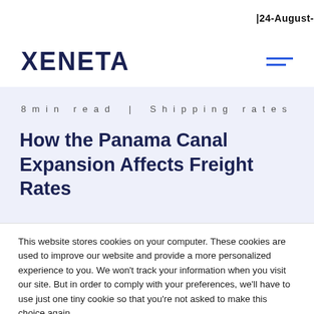|24-August-
XENETA
8 min read   |   Shipping rates
How the Panama Canal Expansion Affects Freight Rates
This website stores cookies on your computer. These cookies are used to improve our website and provide a more personalized experience to you. We won't track your information when you visit our site. But in order to comply with your preferences, we'll have to use just one tiny cookie so that you're not asked to make this choice again.
YES, I'M HAPPY
DECLINE